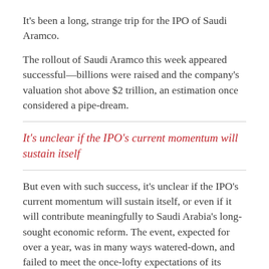It's been a long, strange trip for the IPO of Saudi Aramco.
The rollout of Saudi Aramco this week appeared successful—billions were raised and the company's valuation shot above $2 trillion, an estimation once considered a pipe-dream.
It's unclear if the IPO's current momentum will sustain itself
But even with such success, it's unclear if the IPO's current momentum will sustain itself, or even if it will contribute meaningfully to Saudi Arabia's long-sought economic reform. The event, expected for over a year, was in many ways watered-down, and failed to meet the once-lofty expectations of its engineer, Crown Prince Mohammed Bin Salman